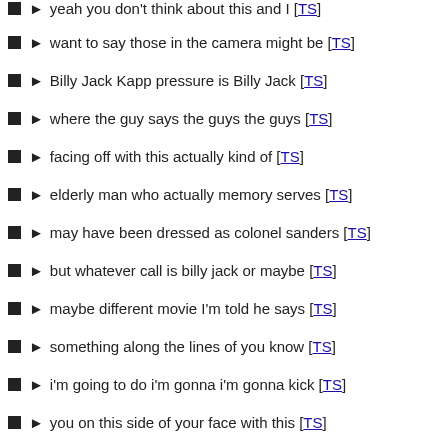yeah you don't think about this and I [TS]
want to say those in the camera might be [TS]
Billy Jack Kapp pressure is Billy Jack [TS]
where the guy says the guys the guys [TS]
facing off with this actually kind of [TS]
elderly man who actually memory serves [TS]
may have been dressed as colonel sanders [TS]
but whatever call is billy jack or maybe [TS]
maybe different movie I'm told he says [TS]
something along the lines of you know [TS]
i'm going to do i'm gonna i'm gonna kick [TS]
you on this side of your face with this [TS]